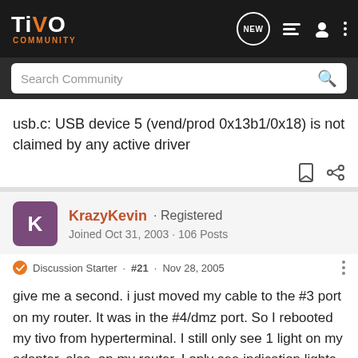TiVO COMMUNITY
Search Community
usb.c: USB device 5 (vend/prod 0x13b1/0x18) is not claimed by any active driver
KrazyKevin · Registered
Joined Oct 31, 2003 · 106 Posts
Discussion Starter · #21 · Nov 28, 2005
give me a second. i just moved my cable to the #3 port on my router. It was in the #4/dmz port. So I rebooted my tivo from hyperterminal. I still only see 1 light on my adapter. also, on my router, I only see indication lights for ports 1 and 2, which are